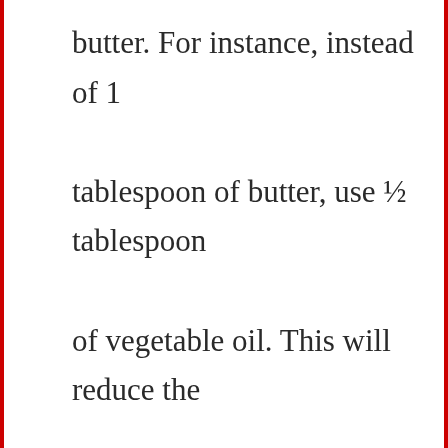butter. For instance, instead of 1 tablespoon of butter, use ½ tablespoon of vegetable oil. This will reduce the total calories by about 100 per serving.
[Figure (screenshot): UI overlay with heart (favorite) button in blue circle and share button in white circle with shadow]
[Figure (screenshot): What's Next panel showing a circular thumbnail image of a lock/bottle and text 'WHAT'S NEXT → Can you mix ammonia an...']
[Figure (screenshot): Dark footer bar with advertisement: tire logo, 'Save Up to $100 on Brakes & Rotors at Virginia Tire & Auto', blue arrow icon, and menu dots]